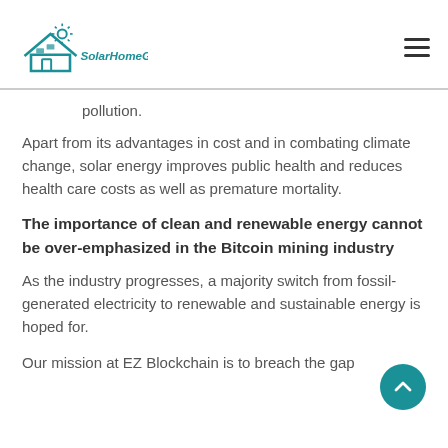SolarHomeGuides
pollution.
Apart from its advantages in cost and in combating climate change, solar energy improves public health and reduces health care costs as well as premature mortality.
The importance of clean and renewable energy cannot be over-emphasized in the Bitcoin mining industry
As the industry progresses, a majority switch from fossil-generated electricity to renewable and sustainable energy is hoped for.
Our mission at EZ Blockchain is to breach the gap